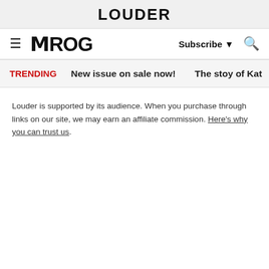LOUDER
PROG | Subscribe | Search
TRENDING   New issue on sale now!   The stoy of Kat
Louder is supported by its audience. When you purchase through links on our site, we may earn an affiliate commission. Here's why you can trust us.
Matthew Wright interviews Gong! Watch it here...